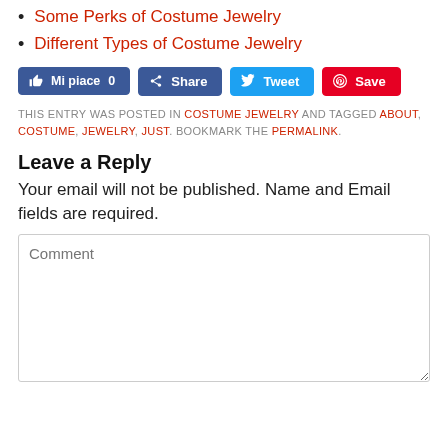Some Perks of Costume Jewelry
Different Types of Costume Jewelry
[Figure (other): Social share buttons: Mi piace 0 (Facebook like), Share (Facebook), Tweet (Twitter), Save (Pinterest)]
THIS ENTRY WAS POSTED IN COSTUME JEWELRY AND TAGGED ABOUT, COSTUME, JEWELRY, JUST. BOOKMARK THE PERMALINK.
Leave a Reply
Your email will not be published. Name and Email fields are required.
Comment